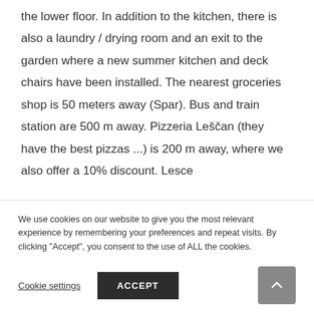the lower floor. In addition to the kitchen, there is also a laundry / drying room and an exit to the garden where a new summer kitchen and deck chairs have been installed. The nearest groceries shop is 50 meters away (Spar). Bus and train station are 500 m away. Pizzeria Leščan (they have the best pizzas ...) is 200 m away, where we also offer a 10% discount. Lesce
We use cookies on our website to give you the most relevant experience by remembering your preferences and repeat visits. By clicking "Accept", you consent to the use of ALL the cookies.
Cookie settings
ACCEPT